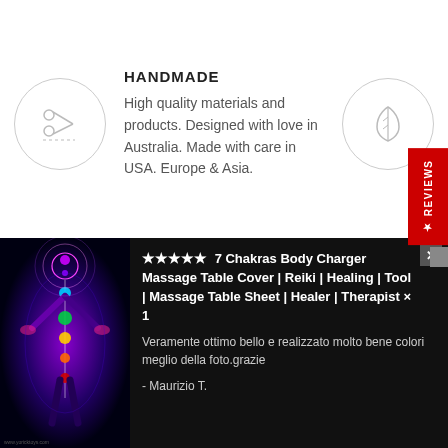[Figure (illustration): Circle icon with scissors/craft tool silhouette in light gray]
HANDMADE
High quality materials and products. Designed with love in Australia. Made with care in USA. Europe & Asia.
[Figure (illustration): Circle icon with a leaf silhouette in light gray]
[Figure (photo): Colorful chakra body figure illustration on dark background showing energy centers]
★★★★★ 7 Chakras Body Charger Massage Table Cover | Reiki | Healing | Tool | Massage Table Sheet | Healer | Therapist × 1
Veramente ottimo bello e realizzato molto bene colori meglio della foto.grazie
- Maurizio T.